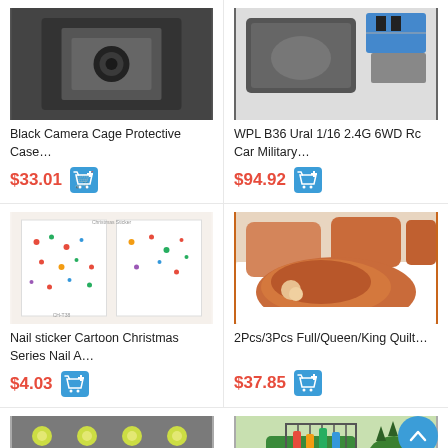[Figure (photo): Black Camera Cage Protective Case product image (dark/black background)]
Black Camera Cage Protective Case…
$33.01
[Figure (photo): WPL B36 Ural 1/16 2.4G 6WD Rc Car Military product image with accessories]
WPL B36 Ural 1/16 2.4G 6WD Rc Car Military…
$94.92
[Figure (photo): Nail sticker Cartoon Christmas Series product image - white booklet with colorful Christmas nail stickers]
Nail sticker Cartoon Christmas Series Nail A…
$4.03
[Figure (photo): 2Pcs/3Pcs Full/Queen/King Quilt product image - bedding set with fried chicken leg design]
2Pcs/3Pcs Full/Queen/King Quilt…
$37.85
[Figure (photo): LED light chips product image on gray background]
[Figure (photo): Dinosaur toy car product image - green toy vehicle]